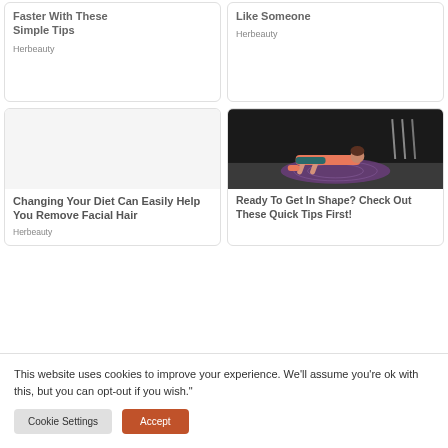[Figure (screenshot): Website content area showing four article cards in a 2x2 grid layout from Herbeauty. Top-left card (partial, cropped): title about 'Growth Can Be Faster With These Simple Tips', source Herbeauty. Top-right card (partial, cropped): title about 'Shouldn't Do If You Like Someone', source Herbeauty. Bottom-left card: 'Changing Your Diet Can Easily Help You Remove Facial Hair', source Herbeauty. Bottom-right card has a photo of a woman in pink workout clothes doing a plank on a purple mandala mat with title 'Ready To Get In Shape? Check Out These Quick Tips First!']
This website uses cookies to improve your experience. We'll assume you're ok with this, but you can opt-out if you wish."